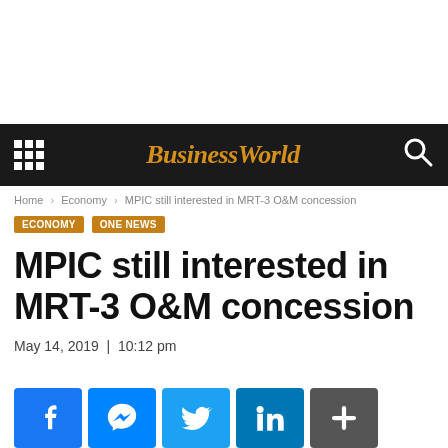BusinessWorld
Home › Economy › MPIC still interested in MRT-3 O&M concession
ECONOMY  ONE NEWS
MPIC still interested in MRT-3 O&M concession
May 14, 2019 | 10:12 pm
[Figure (other): Social sharing buttons: Facebook, Messenger, Twitter, LinkedIn, More]